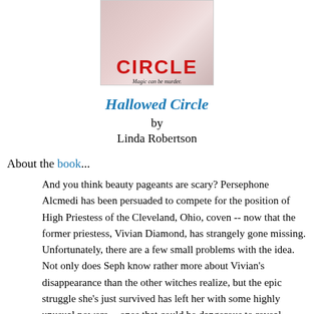[Figure (illustration): Book cover of 'Hallowed Circle' showing the title in large red letters with subtitle 'Magic can be murder.' on a pink/red background]
Hallowed Circle
by
Linda Robertson
About the book...
And you think beauty pageants are scary? Persephone Alcmedi has been persuaded to compete for the position of High Priestess of the Cleveland, Ohio, coven -- now that the former priestess, Vivian Diamond, has strangely gone missing. Unfortunately, there are a few small problems with the idea. Not only does Seph know rather more about Vivian's disappearance than the other witches realize, but the epic struggle she's just survived has left her with some highly unusual powers -- ones that could be dangerous to reveal. Despite her reluctance, she agrees to participate, if only to prevent snooty Hunter Hopewell, an obnoxious but talented witch, from ending up in the